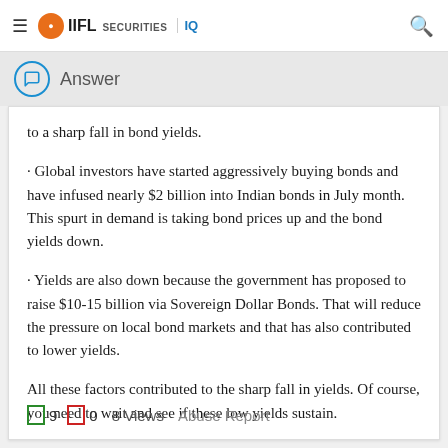IIFL SECURITIES IQ
Answer
to a sharp fall in bond yields.
· Global investors have started aggressively buying bonds and have infused nearly $2 billion into Indian bonds in July month. This spurt in demand is taking bond prices up and the bond yields down.
· Yields are also down because the government has proposed to raise $10-15 billion via Sovereign Dollar Bonds. That will reduce the pressure on local bond markets and that has also contributed to lower yields.
All these factors contributed to the sharp fall in yields. Of course, you need to wait and see if these low yields sustain.
9  0  8 Views  Abuse Report